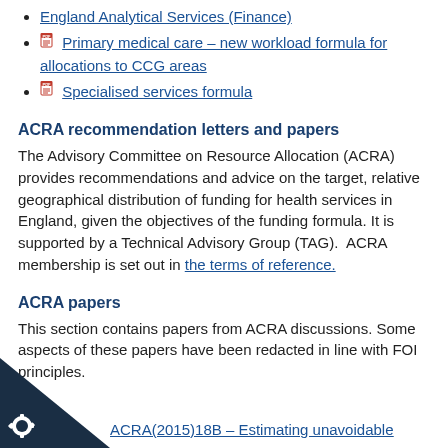England Analytical Services (Finance)
Primary medical care – new workload formula for allocations to CCG areas
Specialised services formula
ACRA recommendation letters and papers
The Advisory Committee on Resource Allocation (ACRA) provides recommendations and advice on the target, relative geographical distribution of funding for health services in England, given the objectives of the funding formula. It is supported by a Technical Advisory Group (TAG).  ACRA membership is set out in the terms of reference.
ACRA papers
This section contains papers from ACRA discussions. Some aspects of these papers have been redacted in line with FOI principles.
ACRA(2015)18B – Estimating unavoidable